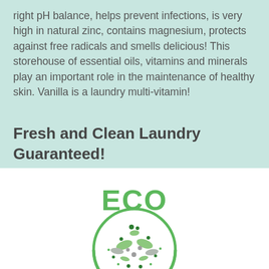right pH balance, helps prevent infections, is very high in natural zinc, contains magnesium, protects against free radicals and smells delicious! This storehouse of essential oils, vitamins and minerals play an important role in the maintenance of healthy skin. Vanilla is a laundry multi-vitamin!
Fresh and Clean Laundry Guaranteed!
[Figure (logo): ECO logo: green bold 'ECO' text above a circular emblem containing stylized leaves and dots in green and gray]